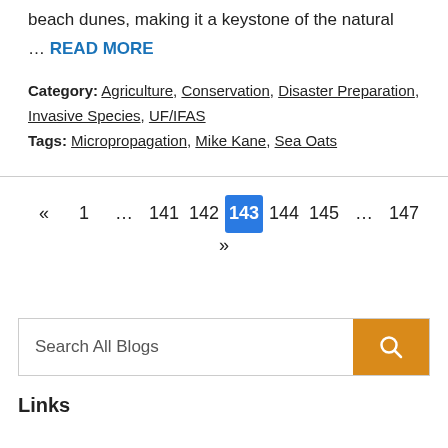beach dunes, making it a keystone of the natural
… READ MORE
Category: Agriculture, Conservation, Disaster Preparation, Invasive Species, UF/IFAS
Tags: Micropropagation, Mike Kane, Sea Oats
« 1 … 141 142 143 144 145 … 147 »
Search All Blogs
Links